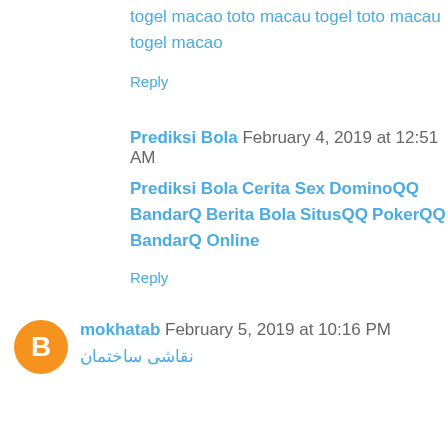togel macao
toto macau
togel toto macau
togel macao
Reply
Prediksi Bola  February 4, 2019 at 12:51 AM
Prediksi Bola
Cerita Sex
DominoQQ
BandarQ
Berita Bola
SitusQQ
PokerQQ
BandarQ Online
Reply
mokhatab  February 5, 2019 at 10:16 PM
نقاشی ساختمان